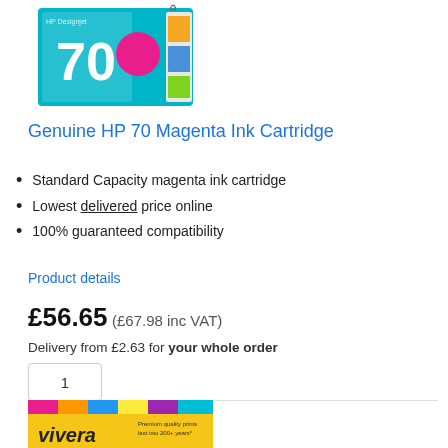[Figure (photo): HP 70 Magenta Ink Cartridge product box image — turquoise/cyan colored box with large number 70 and magenta circle, small product images on the right side]
Genuine HP 70 Magenta Ink Cartridge
Standard Capacity magenta ink cartridge
Lowest delivered price online
100% guaranteed compatibility
Product details
£56.65 (£67.98 inc VAT)
Delivery from £2.63 for your whole order
1
Add to Cart
✔ In Stock
[Figure (photo): Vivera ink cartridges product — colorful striped package with vivera branding at bottom of page]